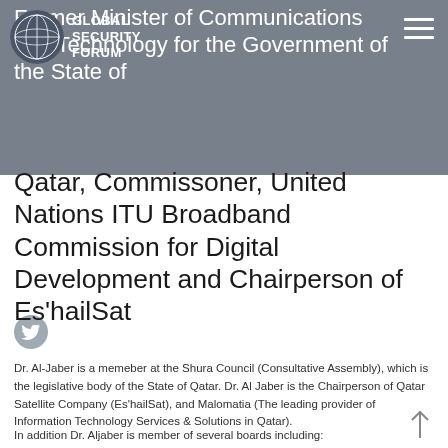GLOBAL SECURITY FORUM
Former Minister of Communications and Technology for the Government of the State of Qatar, Commissoner, United Nations ITU Broadband Commission for Digital Development and Chairperson of Es’hailSat
[Figure (logo): Twitter bird icon in a grey circle]
Dr. Al-Jaber is a memeber at the Shura Council (Consultative Assembly), which is the legislative body of the State of Qatar. Dr. Al Jaber is the Chairperson of Qatar Satellite Company (Es’hailSat), and Malomatia (The leading provider of Information Technology Services & Solutions in Qatar).
In addition Dr. Aljaber is member of several boards including: